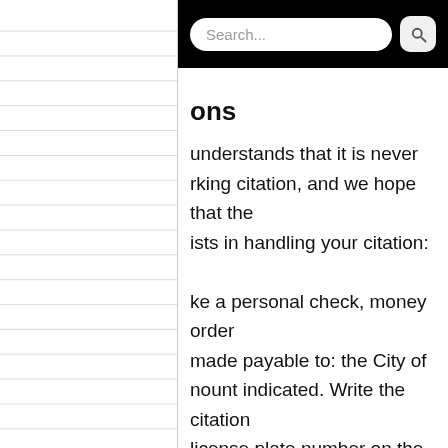[Figure (screenshot): Black header bar with a search input field and search button icon]
ons
understands that it is never rking citation, and we hope that the ists in handling your citation:
ke a personal check, money order made payable to: the City of nount indicated. Write the citation license plate number on the front of ey order. Enclose the citation with